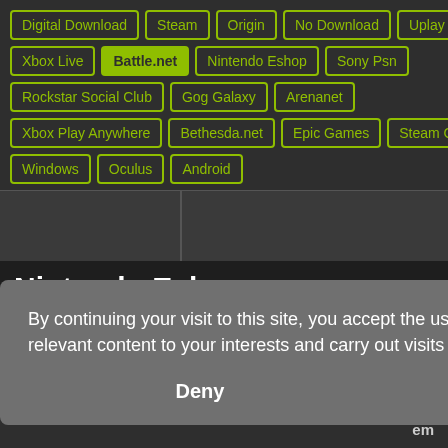Digital Download
Steam
Origin
No Download
Uplay
Xbox Live
Battle.net
Nintendo Eshop
Sony Psn
Rockstar Social Club
Gog Galaxy
Arenanet
Xbox Play Anywhere
Bethesda.net
Epic Games
Steam Gift
Windows
Oculus
Android
Nintendo Eshop
By continuing your visit to this site, you accept the use of cookies to offer you the most relevant content to your interests and carry out visits statistics. Learn more
Deny   Allow